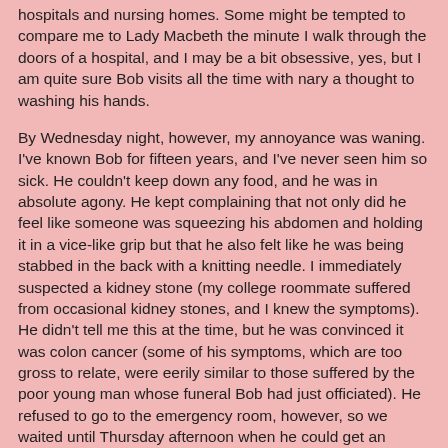hospitals and nursing homes. Some might be tempted to compare me to Lady Macbeth the minute I walk through the doors of a hospital, and I may be a bit obsessive, yes, but I am quite sure Bob visits all the time with nary a thought to washing his hands.
By Wednesday night, however, my annoyance was waning. I've known Bob for fifteen years, and I've never seen him so sick. He couldn't keep down any food, and he was in absolute agony. He kept complaining that not only did he feel like someone was squeezing his abdomen and holding it in a vice-like grip but that he also felt like he was being stabbed in the back with a knitting needle. I immediately suspected a kidney stone (my college roommate suffered from occasional kidney stones, and I knew the symptoms). He didn't tell me this at the time, but he was convinced it was colon cancer (some of his symptoms, which are too gross to relate, were eerily similar to those suffered by the poor young man whose funeral Bob had just officiated). He refused to go to the emergency room, however, so we waited until Thursday afternoon when he could get an appointment with our doctor.
On the top we were also to certified. He visit it was a while